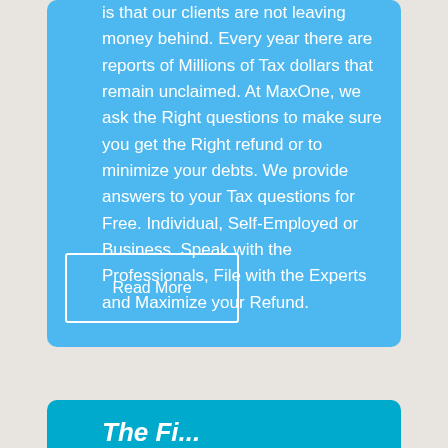is that our clients are not leaving money behind. Every year there are reports of Millions of Tax dollars that remain unclaimed. At MaxOne, we ask the Right questions to make sure you get the Right refund or to minimize your debts. We provide answers to your Tax questions for Free. Individual, Self-Employed or Business. Speak with the Professionals, File with the Experts and Maximize your Refund.
Read More
The First...